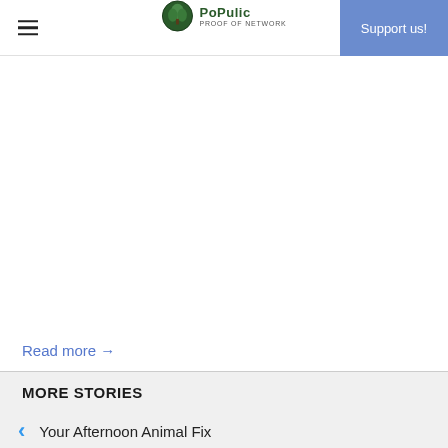PoPulic - Support us!
Read more →
MORE STORIES
Your Afternoon Animal Fix